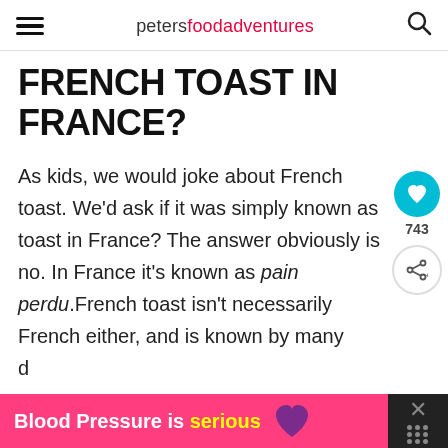petersfoodadventures
FRENCH TOAST IN FRANCE?
As kids, we would joke about French toast. We'd ask if it was simply known as toast in France? The answer obviously is no. In France it's known as pain perdu.French toast isn't necessarily French either, and is known by many d…
[Figure (other): Pink advertisement banner: 'Blood Pressure is serious' with purple heart icon, and dark close button on the right]